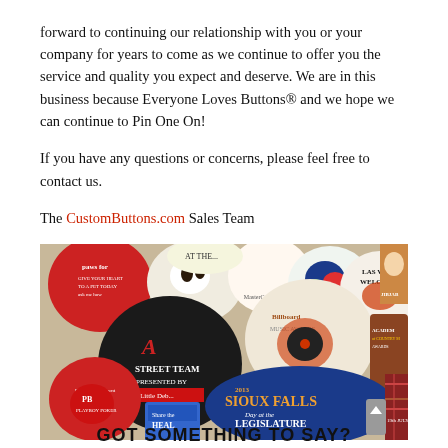forward to continuing our relationship with you or your company for years to come as we continue to offer you the service and quality you expect and deserve. We are in this business because Everyone Loves Buttons® and we hope we can continue to Pin One On!

If you have any questions or concerns, please feel free to contact us.

The CustomButtons.com Sales Team
[Figure (photo): A collage of various colorful custom buttons/pins including Las Vegas Welcomes button, Billboard Music Awards button, Arizona Diamondbacks Street Team button, Sioux Falls Day at the Legislature 2013 button, Academy of Country Music Awards button, JibJab button, a Mastercard button, and many other promotional buttons.]
GOT SOMETHING TO SAY?